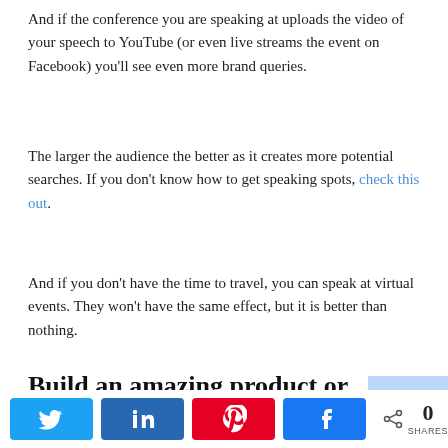And if the conference you are speaking at uploads the video of your speech to YouTube (or even live streams the event on Facebook) you'll see even more brand queries.
The larger the audience the better as it creates more potential searches. If you don't know how to get speaking spots, check this out.
And if you don't have the time to travel, you can speak at virtual events. They won't have the same effect, but it is better than nothing.
Build an amazing product or service
I learned this one from my Ubersuggest acquisition… if people
[Figure (infographic): Social share bar with Twitter, LinkedIn, Pinterest, Facebook buttons and a share count of 0 SHARES]